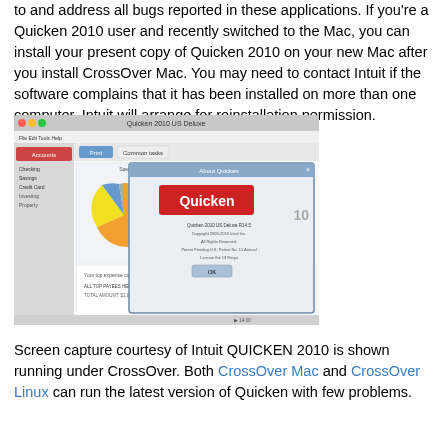to and address all bugs reported in these applications. If you're a Quicken 2010 user and recently switched to the Mac, you can install your present copy of Quicken 2010 on your new Mac after you install CrossOver Mac. You may need to contact Intuit if the software complains that it has been installed on more than one computer. Intuit will arrange for reinstallation permission.
[Figure (screenshot): Screenshot of Quicken 2010 running under CrossOver Mac, showing a pie chart and the Quicken about dialog with a red Quicken logo.]
Screen capture courtesy of Intuit QUICKEN 2010 is shown running under CrossOver. Both CrossOver Mac and CrossOver Linux can run the latest version of Quicken with few problems.